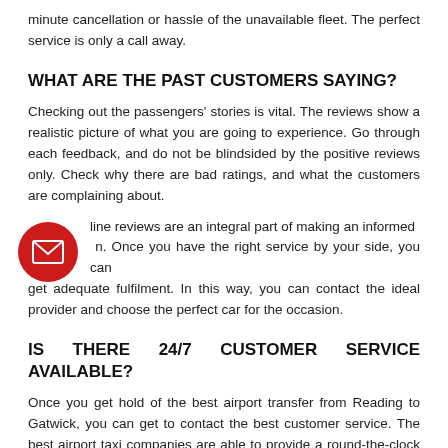minute cancellation or hassle of the unavailable fleet. The perfect service is only a call away.
WHAT ARE THE PAST CUSTOMERS SAYING?
Checking out the passengers' stories is vital. The reviews show a realistic picture of what you are going to experience. Go through each feedback, and do not be blindsided by the positive reviews only. Check why there are bad ratings, and what the customers are complaining about.
[Figure (illustration): Red circle with envelope/mail icon]
Online reviews are an integral part of making an informed decision. Once you have the right service by your side, you can get adequate fulfilment. In this way, you can contact the ideal provider and choose the perfect car for the occasion.
IS THERE 24/7 CUSTOMER SERVICE AVAILABLE?
Once you get hold of the best airport transfer from Reading to Gatwick, you can get to contact the best customer service. The best airport taxi companies are able to provide a round-the-clock service. This results in continuous support and ultimate fulfilment